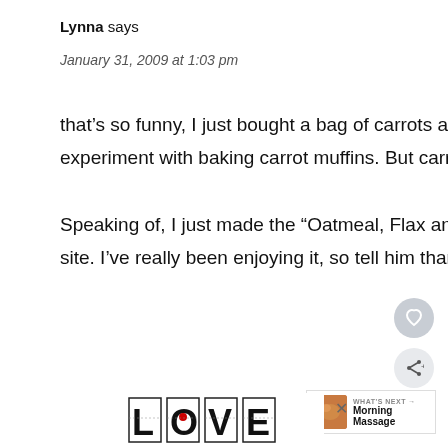Lynna says
January 31, 2009 at 1:03 pm
that’s so funny, I just bought a bag of carrots at the store yesterday because I thought I would experiment with baking carrot muffins. But carrot raisin walnut sounds even better!
Speaking of, I just made the “Oatmeal, Flax and Walnut Bread” that your husband posted on the site. I’ve really been enjoying it, so tell him thanks for the recipe.
[Figure (other): LOVE decorative text/logo image at bottom]
[Figure (other): What's Next thumbnail with Morning Massage label]